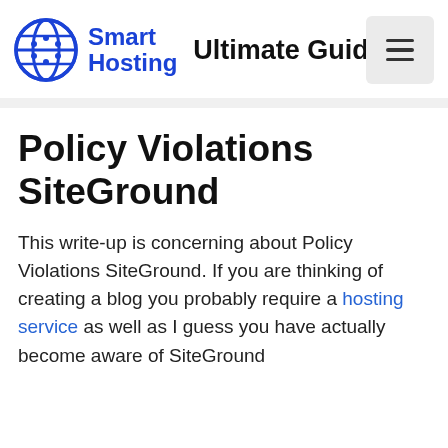Smart Hosting — Ultimate Guide
Policy Violations SiteGround
This write-up is concerning about Policy Violations SiteGround. If you are thinking of creating a blog you probably require a hosting service as well as I guess you have actually become aware of SiteGround